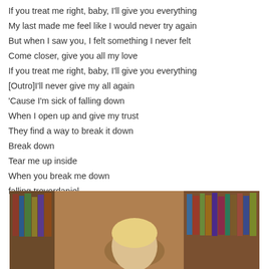If you treat me right, baby, I'll give you everything
My last made me feel like I would never try again
But when I saw you, I felt something I never felt
Come closer, give you all my love
If you treat me right, baby, I'll give you everything
[Outro]I'll never give my all again
'Cause I'm sick of falling down
When I open up and give my trust
They find a way to break it down
Break down
Tear me up inside
When you break me down
falling trevordaniel
[Figure (photo): Photo of a young blonde child seen from behind, sitting in front of a bookshelf filled with books, warm toned indoor setting.]